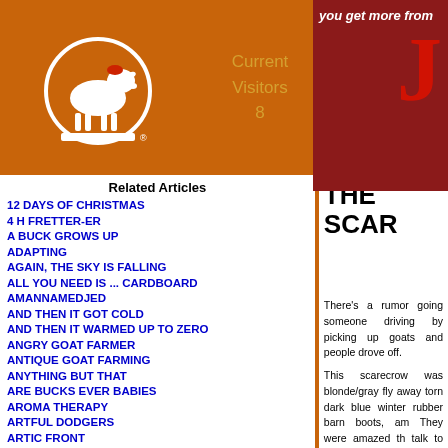[Figure (logo): Goat Farm website logo — white goat inside a circle with registered trademark symbol on orange background]
Current Visitors 8
[Figure (illustration): Ad banner: 'you get more from' with red J letter on dark red background]
Related Articles
12 DAYS OF CHRISTMAS
4 H FRETTER-ER
A BUCK GROWS UP
ADAPTING
AGAIN, THE SKY IS FALLING
ALL YOU NEED IS ... CARDBOARD
AMANNAMEDJED
AND THEN IT GOT COLD
AND THEN IT WARMED UP TO ZERO
ANGRY GOAT FARMER
ANTIQUE GOAT FARMING
ANYTHING BUT THAT
ARE BUCKS EVER BABIES
AROMA THERAPY
ARTFUL DODGERS
ARTIC FRONT
AUTUMN BOQUET
B U B - B U B - B U B
BABY BACK EXCUSE
BABY MONITORS
BACK TO NATURE
BAIT
BARKING AT GOATS
BARN SOUR TRUCK
BATTERIES NOT INCLUDED
BE HAPPY
BEAUTY MISTAKES
BEHAVIORS
BEHIND THE GATE
BIG 10 4 GOAT FARMER
THE SCAR
There's a rumor going someone driving by picking up goats and people drove off.
This scarecrow was blonde/gray fly away torn dark blue winter rubber barn boots, am They were amazed th talk to buyers without
Strange. You know, I h and controls my fligh